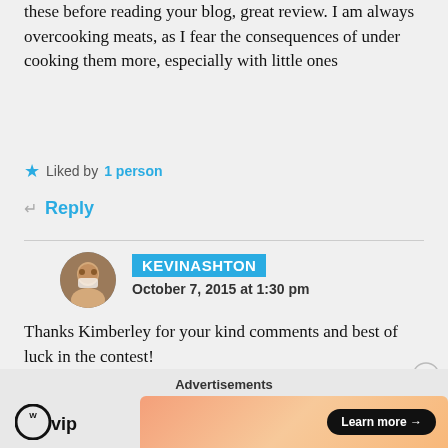these before reading your blog, great review. I am always overcooking meats, as I fear the consequences of under cooking them more, especially with little ones
★ Liked by 1 person
↵ Reply
KEVINASHTON
October 7, 2015 at 1:30 pm
Thanks Kimberley for your kind comments and best of luck in the contest!
Advertisements